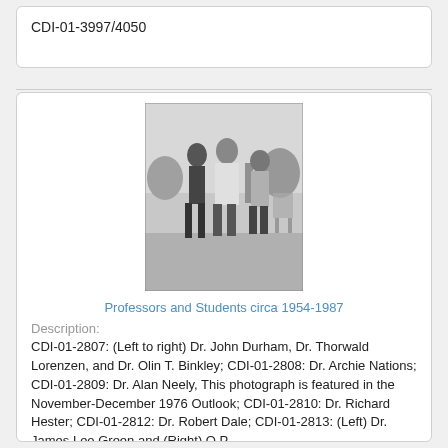CDI-01-3997/4050
[Figure (photo): Black and white photograph of three men standing outdoors on grass, appearing to be professors or academics in conversation. Circa 1954-1987.]
Professors and Students circa 1954-1987
Description:
CDI-01-2807: (Left to right) Dr. John Durham, Dr. Thorwald Lorenzen, and Dr. Olin T. Binkley; CDI-01-2808: Dr. Archie Nations; CDI-01-2809: Dr. Alan Neely, This photograph is featured in the November-December 1976 Outlook; CDI-01-2810: Dr. Richard Hester; CDI-01-2812: Dr. Robert Dale; CDI-01-2813: (Left) Dr. James Leo Green and (Right) O.P.